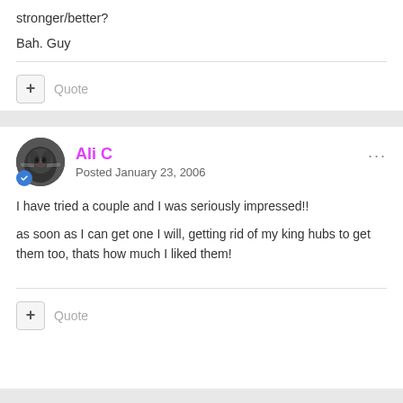stronger/better?
Bah. Guy
Ali C
Posted January 23, 2006
I have tried a couple and I was seriously impressed!!
as soon as I can get one I will, getting rid of my king hubs to get them too, thats how much I liked them!